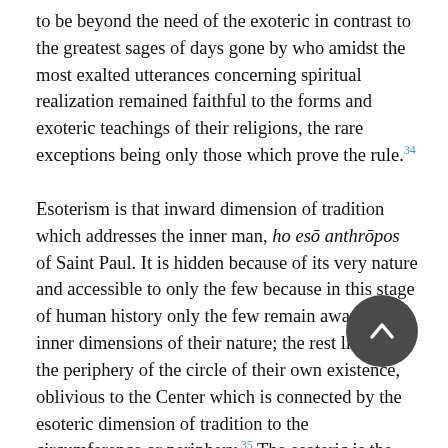to be beyond the need of the exoteric in contrast to the greatest sages of days gone by who amidst the most exalted utterances concerning spiritual realization remained faithful to the forms and exoteric teachings of their religions, the rare exceptions being only those which prove the rule.34
Esoterism is that inward dimension of tradition which addresses the inner man, ho esō anthrōpos of Saint Paul. It is hidden because of its very nature and accessible to only the few because in this stage of human history only the few remain aware of the inner dimensions of their nature; the rest live on the periphery of the circle of their own existence, oblivious to the Center which is connected by the esoteric dimension of tradition to the circumference or periphery.35 The esoteric is the radius which provides the means of going from the circumference to the Center, but it is not available to all because not